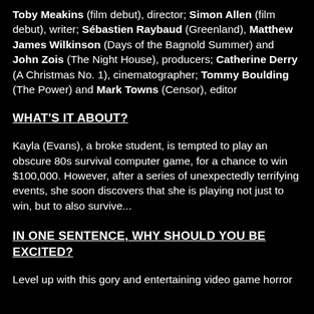Toby Meakins (film debut), director; Simon Allen (film debut), writer; Sébastien Raybaud (Greenland), Matthew James Wilkinson (Days of the Bagnold Summer) and John Zois (The Night House), producers; Catherine Derry (A Christmas No. 1), cinematographer; Tommy Boulding (The Power) and Mark Towns (Censor), editor
WHAT'S IT ABOUT?
Kayla (Evans), a broke student, is tempted to play an obscure 80s survival computer game, for a chance to win $100,000. However, after a series of unexpectedly terrifying events, she soon discovers that she is playing not just to win, but to also survive...
IN ONE SENTENCE, WHY SHOULD YOU BE EXCITED?
Level up with this gory and entertaining video game horror